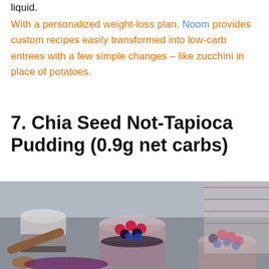liquid.
With a personalized weight-loss plan, Noom provides custom recipes easily transformed into low-carb entrees with a few simple changes – like zucchini in place of potatoes.
7. Chia Seed Not-Tapioca Pudding (0.9g net carbs)
[Figure (photo): Jars of chia seed pudding topped with raspberries, blackberries, and blueberries, with a wooden scoop and purple powder in the foreground.]